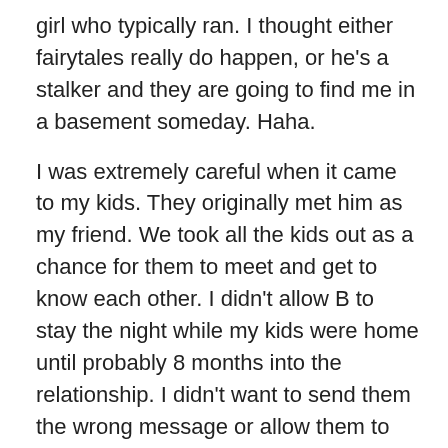girl who typically ran. I thought either fairytales really do happen, or he's a stalker and they are going to find me in a basement someday. Haha.
I was extremely careful when it came to my kids. They originally met him as my friend. We took all the kids out as a chance for them to meet and get to know each other. I didn't allow B to stay the night while my kids were home until probably 8 months into the relationship. I didn't want to send them the wrong message or allow them to get too attached.
After about a year, we started discussing merging our families, living together and getting married. All of the kids had mixed feelings about this but we both said we would make it work. Although B constantly ensured me he couldn't wait to merge our homes, he was a little sad